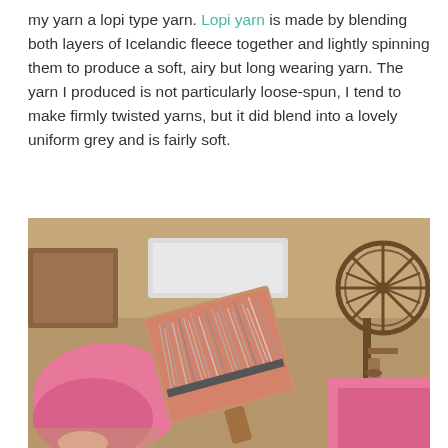my yarn a lopi type yarn. Lopi yarn is made by blending both layers of Icelandic fleece together and lightly spinning them to produce a soft, airy but long wearing yarn. The yarn I produced is not particularly loose-spun, I tend to make firmly twisted yarns, but it did blend into a lovely uniform grey and is fairly soft.
[Figure (photo): A close-up photo of a carding paddle or fiber processing tool with grey Icelandic fleece/wool on it. In the background is a wooden spinning wheel, pink cushions/fabric, and what appears to be a wooden room interior.]